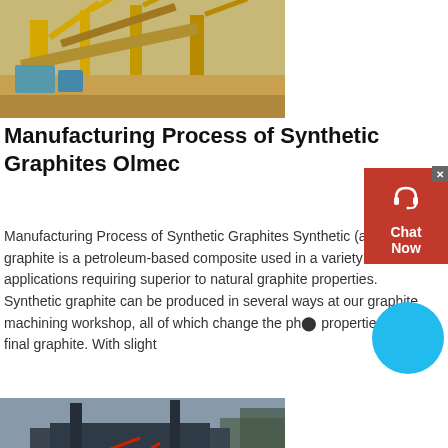[Figure (photo): Industrial equipment / mining or construction plant with yellow metal structures, conveyors, and machinery on a sandy/dusty site]
Manufacturing Process of Synthetic Graphites Olmec
Manufacturing Process of Synthetic Graphites Synthetic (artif graphite is a petroleum-based composite used in a variety of applications requiring superior to natural graphite properties. Synthetic graphite can be produced in several ways at our graphite machining workshop, all of which change the physical properties of the final graphite. With slight
get price
[Figure (photo): Industrial machinery / large dark metal equipment structure with red components and pipes, outdoors with trees in background]